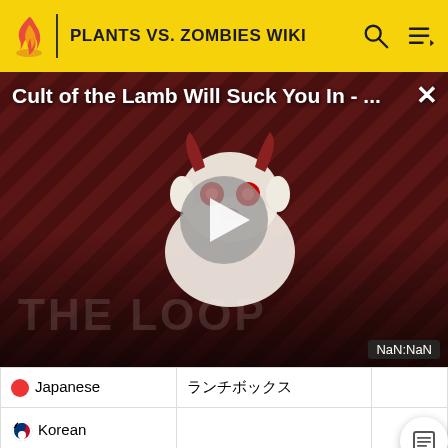PLANTS VS. ZOMBIES WIKI
[Figure (screenshot): Video thumbnail overlay for 'Cult of the Lamb Will Suck You In - ...' with a play button in the center, a close X button top right, 'THE LOOP' watermark text, and a NaN:NaN timestamp label at bottom right. Background is a dark red diagonal striped pattern with a cartoon lamb character.]
| Language | Translation |  |
| --- | --- | --- |
| Japanese | ランチボックス |  |
| Korean |  |  |
| Brazilian Portuguese | Lancheira do Yeti |  |
| Russian | Обед, контейнер |  |